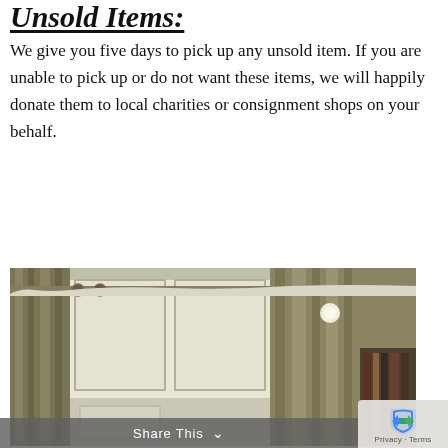Unsold Items:
We give you five days to pick up any unsold item. If you are unable to pick up or do not want these items, we will happily donate them to local charities or consignment shops on your behalf.
[Figure (photo): Interior room photo showing curtains on a curtain rod near a window, white paneled wall, and a bookcase partially visible at right, with an aged warm-toned color palette.]
Share This ∨